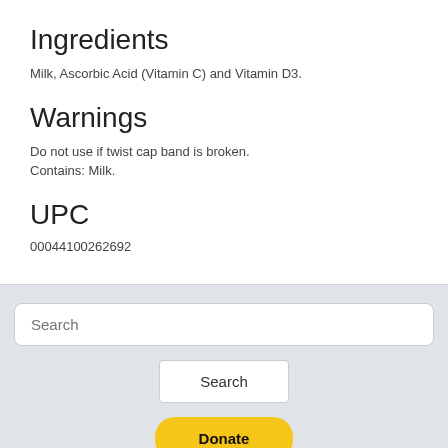Ingredients
Milk, Ascorbic Acid (Vitamin C) and Vitamin D3.
Warnings
Do not use if twist cap band is broken.
Contains: Milk.
UPC
00044100262692